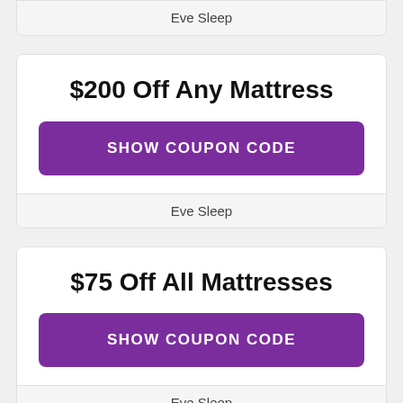Eve Sleep
$200 Off Any Mattress
SHOW COUPON CODE
Eve Sleep
$75 Off All Mattresses
SHOW COUPON CODE
Eve Sleep